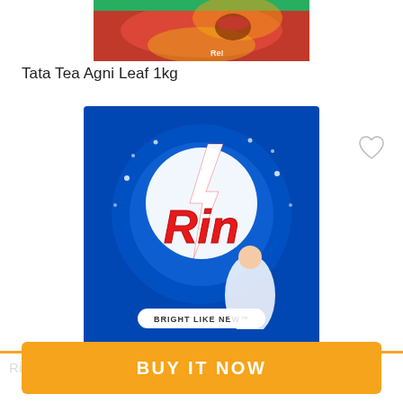[Figure (photo): Tata Tea Agni Leaf 1kg product package — partial top portion visible, red packaging with tea imagery]
Tata Tea Agni Leaf 1kg
[Figure (photo): Rin detergent powder 1kg package — blue background with lightning bolt logo, 'Rin' in red, 'BRIGHT LIKE NEW' text, woman in white outfit]
Rs. 355
BUY IT NOW